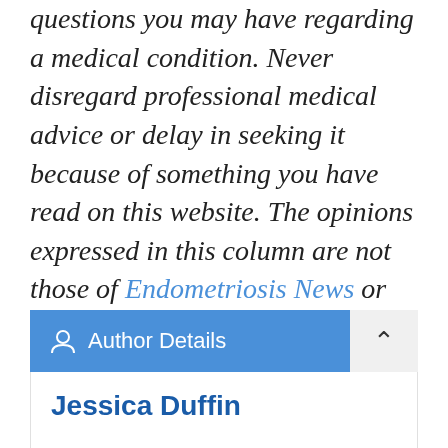questions you may have regarding a medical condition. Never disregard professional medical advice or delay in seeking it because of something you have read on this website. The opinions expressed in this column are not those of Endometriosis News or its parent company, BioNews Services, and are intended to spark discussion about issues pertaining to endometriosis.
Author Details
Jessica Duffin